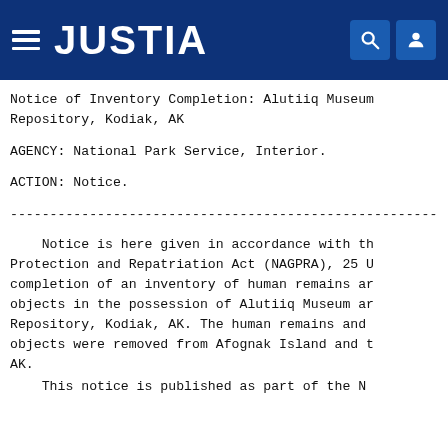JUSTIA
Notice of Inventory Completion: Alutiiq Museum and Repository, Kodiak, AK
AGENCY: National Park Service, Interior.
ACTION: Notice.
------------------------------------------------------------------------
Notice is here given in accordance with the Native American Graves Protection and Repatriation Act (NAGPRA), 25 U.S.C. 3003, of the completion of an inventory of human remains and associated funerary objects in the possession of Alutiiq Museum and Archaeological Repository, Kodiak, AK. The human remains and associated funerary objects were removed from Afognak Island and the Kodiak Archipelago, AK.
This notice is published as part of the N